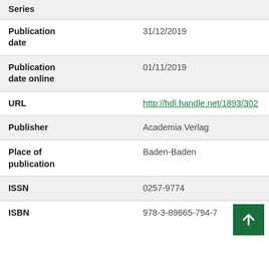| Field | Value |
| --- | --- |
| Series |  |
| Publication date | 31/12/2019 |
| Publication date online | 01/11/2019 |
| URL | http://hdl.handle.net/1893/302 |
| Publisher | Academia Verlag |
| Place of publication | Baden-Baden |
| ISSN | 0257-9774 |
| ISBN | 978-3-89665-794-7 |